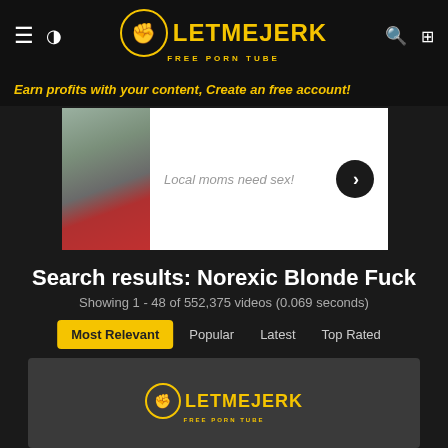LetMeJerk Free Porn Tube
Earn profits with your content, Create an free account!
[Figure (photo): Advertisement banner with a woman in grey top and red skirt standing outside in winter, with text 'Local moms need sex!' and a forward arrow button]
Search results: Norexic Blonde Fuck
Showing 1 - 48 of 552,375 videos (0.069 seconds)
Most Relevant  Popular  Latest  Top Rated
[Figure (logo): LetMeJerk Free Porn Tube logo in yellow/gold on dark grey background]